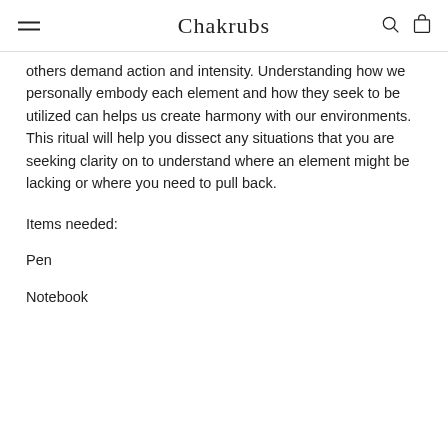Chakrubs
others demand action and intensity. Understanding how we personally embody each element and how they seek to be utilized can helps us create harmony with our environments. This ritual will help you dissect any situations that you are seeking clarity on to understand where an element might be lacking or where you need to pull back.
Items needed:
Pen
Notebook